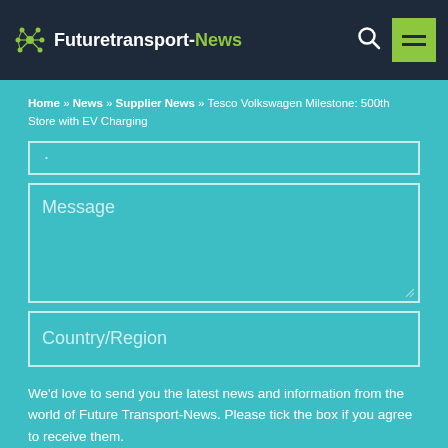Futuretransport-News
Home » News » Supplier News » Tesco Volkswagen Milestone: 500th Store with EV Charging
Message
Country/Region
We'd love to send you the latest news and information from the world of Future Transport-News. Please tick the box if you agree to receive them.
I agree to receive communications from Future Transport-News.